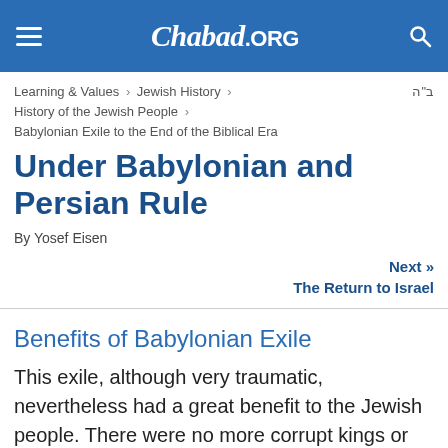Chabad.ORG
Learning & Values > Jewish History > History of the Jewish People > Babylonian Exile to the End of the Biblical Era   ב"ה
Under Babylonian and Persian Rule
By Yosef Eisen
Next » The Return to Israel
Benefits of Babylonian Exile
This exile, although very traumatic, nevertheless had a great benefit to the Jewish people. There were no more corrupt kings or nobility – in Babylon the Torah scholars had complete authority. Moreover, the